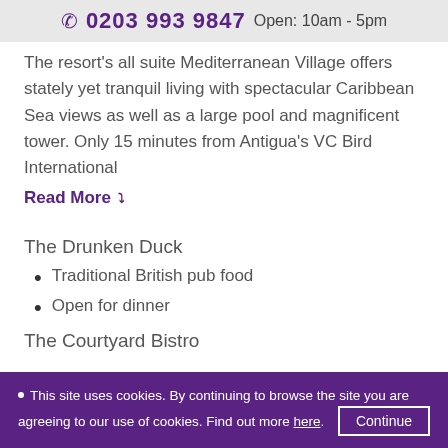0203 993 9847  Open: 10am - 5pm
The resort's all suite Mediterranean Village offers stately yet tranquil living with spectacular Caribbean Sea views as well as a large pool and magnificent tower. Only 15 minutes from Antigua's VC Bird International
Read More ˅
The Drunken Duck
Traditional British pub food
Open for dinner
The Courtyard Bistro
This site uses cookies. By continuing to browse the site you are agreeing to our use of cookies. Find out more here. Continue